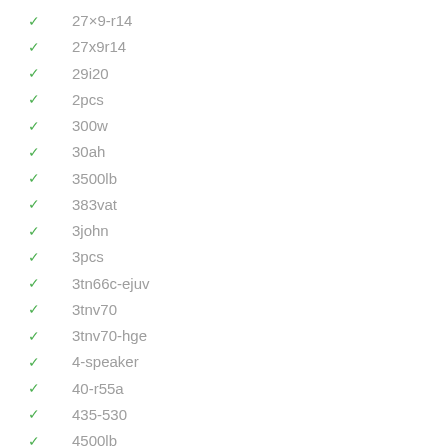27×9-r14
27x9r14
29i20
2pcs
300w
30ah
3500lb
383vat
3john
3pcs
3tn66c-ejuv
3tnv70
3tnv70-hge
4-speaker
40-r55a
435-530
4500lb
4pcs